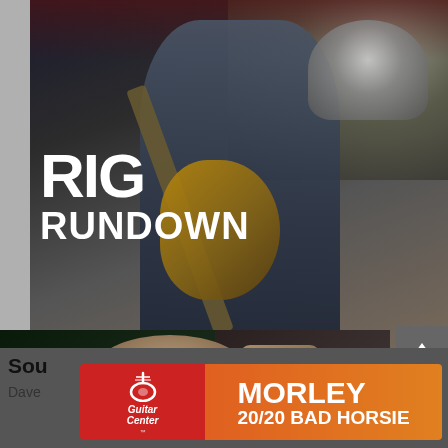[Figure (photo): Guitarist on stage holding a Les Paul guitar, with drummer and drum kit visible in background. Large text overlay reads RIG RUNDOWN.]
RIG RUNDOWN
[Figure (screenshot): Video thumbnail showing a person holding a green guitar pedal. Text overlays include ORIGIN HALCYON, PG PRESENTS logo, a play button, and FIRST LOOK logo badge.]
ORIGIN HALCYON
PG PRESENTS
FIRST LOOK
[Figure (logo): Guitar Center and Morley 20/20 Bad Horsie advertisement banner]
MORLEY 20/20 BAD HORSIE
Sou
Dave
3, 2022